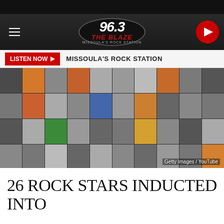96.3 The Blaze — Missoula's Rock Station
LISTEN NOW  MISSOULA'S ROCK STATION
[Figure (photo): Collage of rock star photos in a grid layout with Getty Images / YouTube credit]
Getty Images / YouTube
26 ROCK STARS INDUCTED INTO